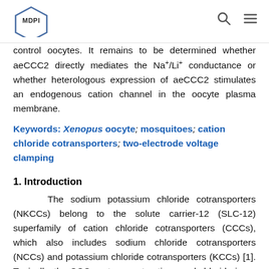MDPI [logo] [search icon] [menu icon]
control oocytes. It remains to be determined whether aeCCC2 directly mediates the Na+/Li+ conductance or whether heterologous expression of aeCCC2 stimulates an endogenous cation channel in the oocyte plasma membrane.
Keywords: Xenopus oocyte; mosquitoes; cation chloride cotransporters; two-electrode voltage clamping
1. Introduction
The sodium potassium chloride cotransporters (NKCCs) belong to the solute carrier-12 (SLC-12) superfamily of cation chloride cotransporters (CCCs), which also includes sodium chloride cotransporters (NCCs) and potassium chloride cotransporters (KCCs) [1]. Typically, the CCCs cotransport cations and chloride in an electroneutral fashion and are inhibited by loop diuretics (e.g., furosemide, bumetanide) and/or thiazide. [2]. CCCs play critical roles in a wide variety of physiological functions in vertebrates, including neuronal development, regulation of cell volume, and maintenance of